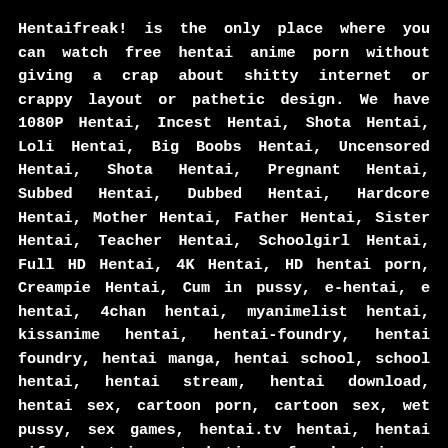Hentaifreak! is the only place where you can watch free hentai anime porn without giving a crap about shitty internet or crappy layout or pathetic design. We have 1080P Hentai, Incest Hentai, Shota Hentai, Loli Hentai, Big Boobs Hentai, Uncensored Hentai, Shota Hentai, Pregnant Hentai, Subbed Hentai, Dubbed Hentai, Hardcore Hentai, Mother Hentai, Father Hentai, Sister Hentai, Teacher Hentai, Schoolgirl Hentai, Full HD Hentai, 4K Hentai, HD hentai porn, Creampie Hentai, Cum in pussy, e-hentai, e hentai, 4chan hentai, myanimelist hentai, kissanime hentai, hentai-foundry, hentai foundry, hentai manga, hentai school, school hentai, hentai stream, hentai download, hentai sex, cartoon porn, cartoon sex, wet pussy, sex games, hentai.tv hentai, hentai gifs, hentai masturbation, fap hentai, e-hentai.org, hentai, ehentai, hentai, nhentai.net